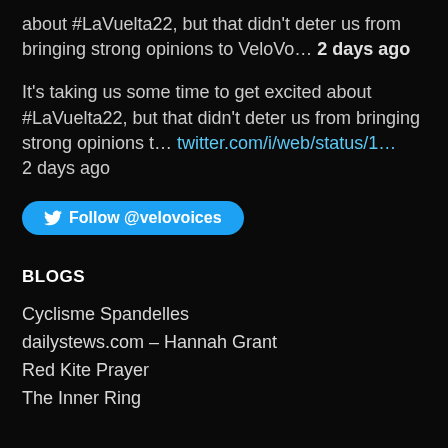about #LaVuelta22, but that didn't deter us from bringing strong opinions to VeloVo… 2 days ago
It's taking us some time to get excited about #LaVuelta22, but that didn't deter us from bringing strong opinions t… twitter.com/i/web/status/1… 2 days ago
Follow @velovoices
BLOGS
Cyclisme Spandelles
dailystews.com – Hannah Grant
Red Kite Prayer
The Inner Ring